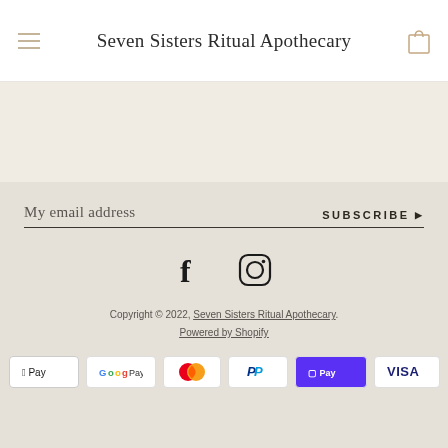Seven Sisters Ritual Apothecary
My email address
SUBSCRIBE ▶
[Figure (illustration): Facebook and Instagram social media icons]
Copyright © 2022, Seven Sisters Ritual Apothecary. Powered by Shopify
[Figure (other): Payment method icons: Apple Pay, Google Pay, Mastercard, PayPal, Shop Pay, Visa]